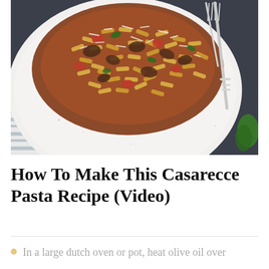[Figure (photo): A white speckled ceramic bowl filled with casarecce pasta in a rich tomato and meat sauce, topped with grated parmesan cheese, with a silver fork resting in the bowl. A blue and white striped linen napkin is visible underneath, on a dark blue background.]
How To Make This Casarecce Pasta Recipe (Video)
In a large dutch oven or pot, heat olive oil over